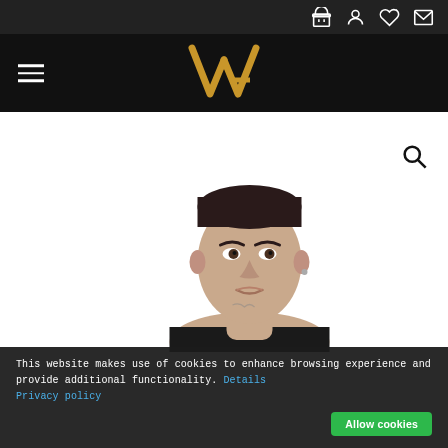Navigation bar with cart, user, wishlist, and message icons
[Figure (logo): VA logo in gold/yellow angular font on black background, hamburger menu on left]
[Figure (photo): A young man with short dark hair, no shirt visible, tattoo on neck, photographed from shoulders up on white background]
This website makes use of cookies to enhance browsing experience and provide additional functionality. Details Privacy policy
Allow cookies